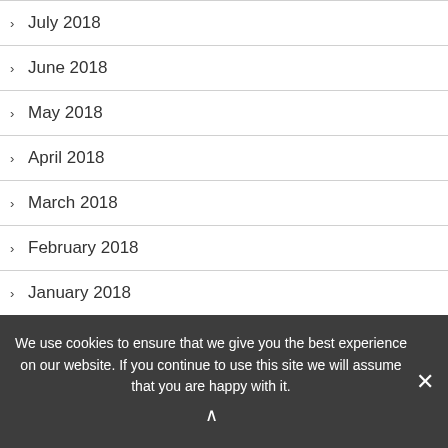July 2018
June 2018
May 2018
April 2018
March 2018
February 2018
January 2018
December 2017
November 2017
October 2017
September 2017
We use cookies to ensure that we give you the best experience on our website. If you continue to use this site we will assume that you are happy with it.